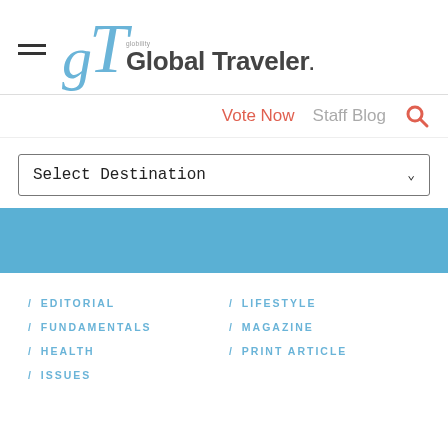[Figure (logo): Global Traveler magazine logo with stylized 'gT' letters in blue and wordmark]
Vote Now   Staff Blog
Select Destination
[Figure (other): Blue banner/advertisement strip]
/ EDITORIAL
/ LIFESTYLE
/ FUNDAMENTALS
/ MAGAZINE
/ HEALTH
/ PRINT ARTICLE
/ ISSUES